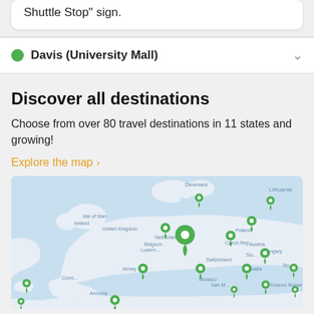Shuttle Stop" sign.
Davis (University Mall)
Discover all destinations
Choose from over 80 travel destinations in 11 states and growing!
Explore the map ›
[Figure (map): Map of Europe showing green location pin markers indicating travel destinations across the continent including Netherlands, Denmark, Lithuania, Poland, Czech Republic, Hungary, Switzerland, Austria, Croatia, Monaco, San Marino, Andorra, Kosovo, Bulgaria and other countries.]